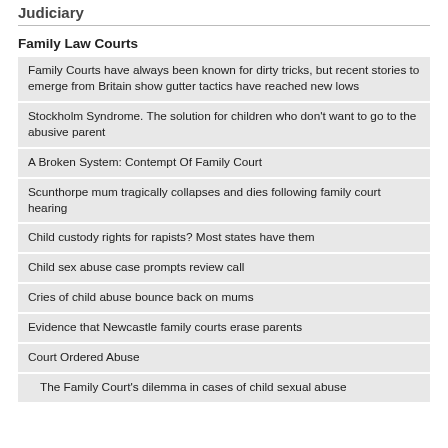Judiciary
Family Law Courts
Family Courts have always been known for dirty tricks, but recent stories to emerge from Britain show gutter tactics have reached new lows
Stockholm Syndrome. The solution for children who don't want to go to the abusive parent
A Broken System: Contempt Of Family Court
Scunthorpe mum tragically collapses and dies following family court hearing
Child custody rights for rapists? Most states have them
Child sex abuse case prompts review call
Cries of child abuse bounce back on mums
Evidence that Newcastle family courts erase parents
Court Ordered Abuse
The Family Court's dilemma in cases of child sexual abuse